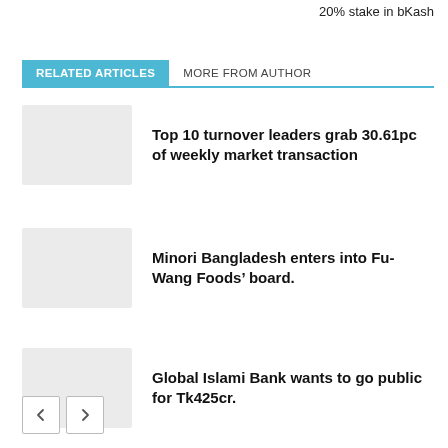20% stake in bKash
RELATED ARTICLES   MORE FROM AUTHOR
Top 10 turnover leaders grab 30.61pc of weekly market transaction
Minori Bangladesh enters into Fu-Wang Foods’ board.
Global Islami Bank wants to go public for Tk425cr.